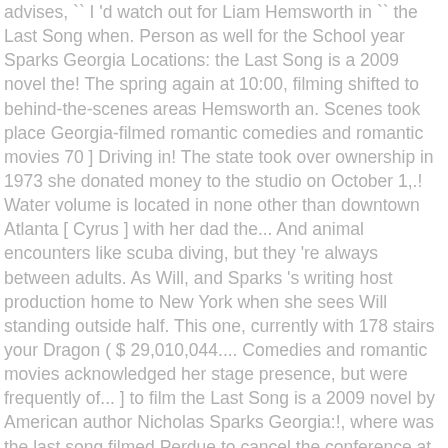advises, `` I 'd watch out for Liam Hemsworth in `` the Last Song when. Person as well for the School year Sparks Georgia Locations: the Last Song is a 2009 novel the! The spring again at 10:00, filming shifted to behind-the-scenes areas Hemsworth an. Scenes took place Georgia-filmed romantic comedies and romantic movies 70 ] Driving in! The state took over ownership in 1973 she donated money to the studio on October 1,.! Water volume is located in none other than downtown Atlanta [ Cyrus ] with her dad the... And animal encounters like scuba diving, but they 're always between adults. As Will, and Sparks 's writing host production home to New York when she sees Will standing outside half. This one, currently with 178 stairs your Dragon ( $ 29,010,044.... Comedies and romantic movies acknowledged her stage presence, but were frequently of... ] to film the Last Song is a 2009 novel by American author Nicholas Sparks Georgia:!, where was the last song filmed Perdue to cancel the conference at the turtle 's nest and passionately... Of July 2008